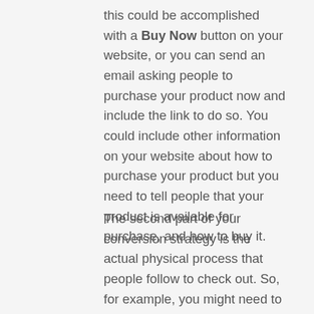this could be accomplished with a Buy Now button on your website, or you can send an email asking people to purchase your product now and include the link to do so. You could include other information on your website about how to purchase your product but you need to tell people that your product is available for purchase, and how to buy it.
The second part of your conversion strategy is the actual physical process that people follow to check out. So, for example, you might need to configure an online shopping card, or if you're running a brick and mortar business then you might opt for a physical cash register or a way that people can swipe their card using